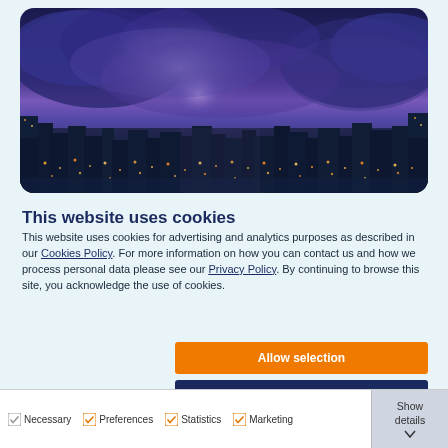[Figure (photo): Panoramic city skyline at night with dramatic lightning storm in a purple-blue stormy sky, illuminated city buildings and lights below.]
This website uses cookies
This website uses cookies for advertising and analytics purposes as described in our Cookies Policy. For more information on how you can contact us and how we process personal data please see our Privacy Policy. By continuing to browse this site, you acknowledge the use of cookies.
Allow selection
Allow all cookies
Necessary  Preferences  Statistics  Marketing  Show details